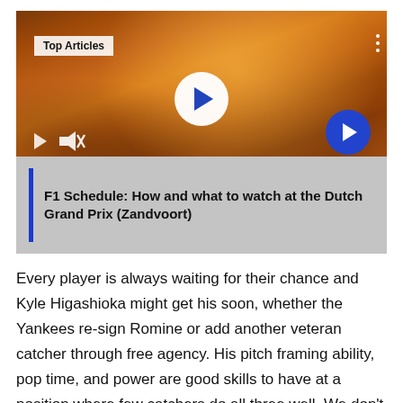[Figure (screenshot): Video player thumbnail showing a crowd of people with orange smoke/flares. Overlaid UI elements: 'Top Articles' badge top-left, white play button circle in center, mute icon and small play icon bottom-left, blue arrow-right button bottom-right, and a gray caption panel at bottom with blue vertical bar and bold title text.]
F1 Schedule: How and what to watch at the Dutch Grand Prix (Zandvoort)
Every player is always waiting for their chance and Kyle Higashioka might get his soon, whether the Yankees re-sign Romine or add another veteran catcher through free agency. His pitch framing ability, pop time, and power are good skills to have at a position where few catchers do all three well. We don't